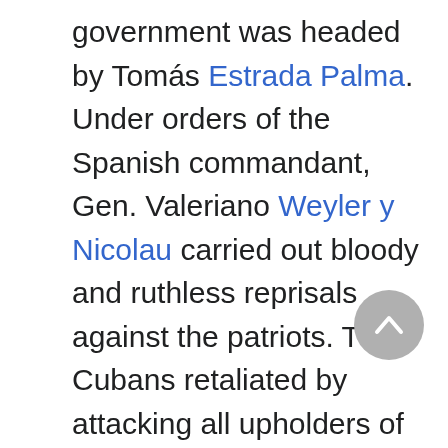government was headed by Tomás Estrada Palma. Under orders of the Spanish commandant, Gen. Valeriano Weyler y Nicolau carried out bloody and ruthless reprisals against the patriots. The Cubans retaliated by attacking all upholders of the Spanish cause. U.S. sympathy for the rebels was intensified by the destruction of U.S. property in Cuba, while the activities of American mercenaries and soldiers of fortune aroused the indignation of Spain. In 1873 the